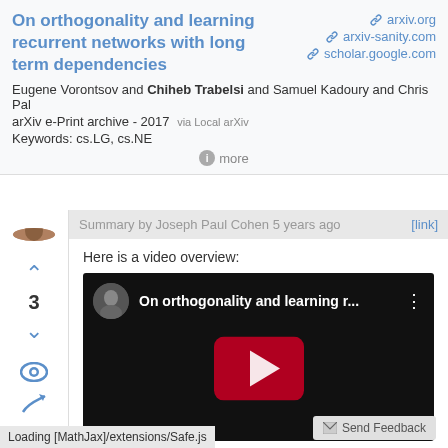On orthogonality and learning recurrent networks with long term dependencies
arxiv.org  arxiv-sanity.com  scholar.google.com
Eugene Vorontsov and Chiheb Trabelsi and Samuel Kadoury and Chris Pal
arXiv e-Print archive - 2017 via Local arXiv
Keywords: cs.LG, cs.NE
more
Summary by Joseph Paul Cohen 5 years ago  [link]
Here is a video overview:
[Figure (screenshot): YouTube video thumbnail showing 'On orthogonality and learning r...' with play button on black background]
Loading [MathJax]/extensions/Safe.js